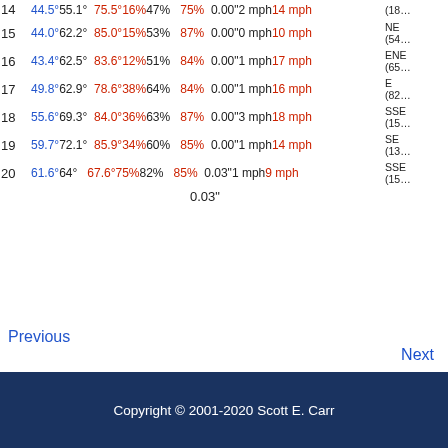| # | Low | High/RH | Avg RH | Max RH | Precip | Wind | Dir |
| --- | --- | --- | --- | --- | --- | --- | --- |
| 14 | 44.5°62.2° | 75.5°16%47% | 75% | 0.00"2 mph | 14 mph | (18… |
| 15 | 44.0°62.2° | 85.0°15%53% | 87% | 0.00"0 mph | 10 mph | NE (54… |
| 16 | 43.4°62.5° | 83.6°12%51% | 84% | 0.00"1 mph | 17 mph | ENE (65… |
| 17 | 49.8°62.9° | 78.6°38%64% | 84% | 0.00"1 mph | 16 mph | E (82… |
| 18 | 55.6°69.3° | 84.0°36%63% | 87% | 0.00"3 mph | 18 mph | SSE (15… |
| 19 | 59.7°72.1° | 85.9°34%60% | 85% | 0.00"1 mph | 14 mph | SE (13… |
| 20 | 61.6°64° | 67.6°75%82% | 85% | 0.03"1 mph | 9 mph | SSE (15… |
|  |  |  |  | 0.03" |  |  |
Previous
Next
Copyright © 2001-2020 Scott E. Carr